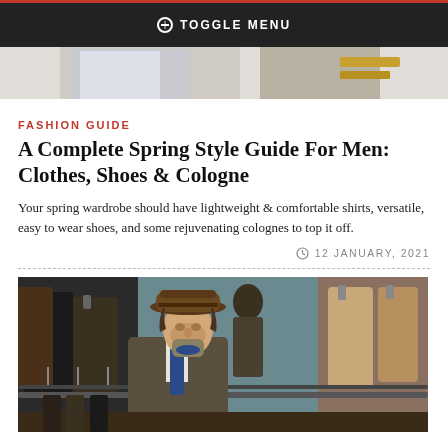TOGGLE MENU
FASHION GUIDE
A Complete Spring Style Guide For Men: Clothes, Shoes & Cologne
Your spring wardrobe should have lightweight & comfortable shirts, versatile, easy to wear shoes, and some rejuvenating colognes to top it off.
12 JANUARY, 2021
[Figure (photo): Man wearing a brown fedora hat browsing through clothing rack at an outdoor market, surrounded by hanging jackets and coats]